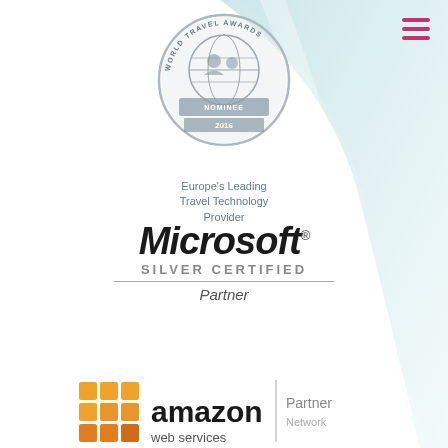[Figure (logo): World Travel Awards Nominee 2016 badge with globe, text: Europe's Leading Travel Technology Provider]
[Figure (logo): Microsoft Silver Certified Partner logo]
[Figure (logo): Amazon Web Services Partner Network logo (partially visible)]